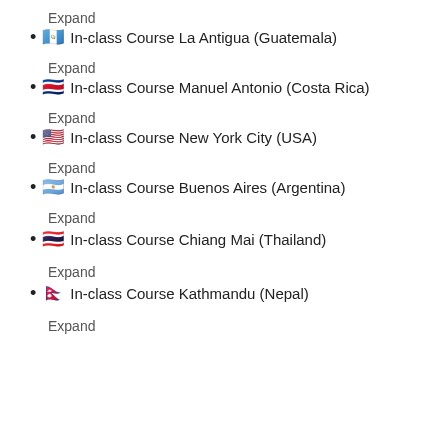Expand
🇬🇹 In-class Course La Antigua (Guatemala)
Expand
🇨🇷 In-class Course Manuel Antonio (Costa Rica)
Expand
🇺🇸 In-class Course New York City (USA)
Expand
🇦🇷 In-class Course Buenos Aires (Argentina)
Expand
In-class Course Chiang Mai (Thailand)
Expand
In-class Course Kathmandu (Nepal)
Expand